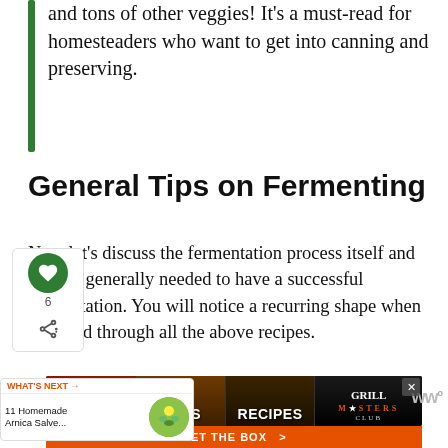and tons of other veggies! It’s a must-read for homesteaders who want to get into canning and preserving.
General Tips on Fermenting
Now let’s discuss the fermentation process itself and what is generally needed to have a successful fermentation. You will notice a recurring shape when you read through all the above recipes.
[Figure (other): Advertisement banner for Grill Masters Club featuring SAUCES, RUBS, RECIPES, GRILL MASTERS sections with GET THE BOX button]